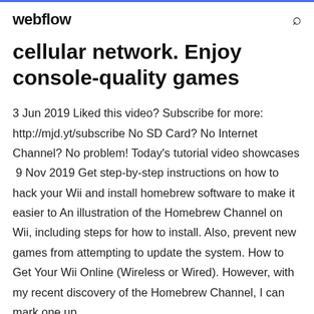webflow
cellular network. Enjoy console-quality games
3 Jun 2019 Liked this video? Subscribe for more: http://mjd.yt/subscribe No SD Card? No Internet Channel? No problem! Today's tutorial video showcases  9 Nov 2019 Get step-by-step instructions on how to hack your Wii and install homebrew software to make it easier to An illustration of the Homebrew Channel on Wii, including steps for how to install. Also, prevent new games from attempting to update the system. How to Get Your Wii Online (Wireless or Wired). However, with my recent discovery of the Homebrew Channel, I can mark one up